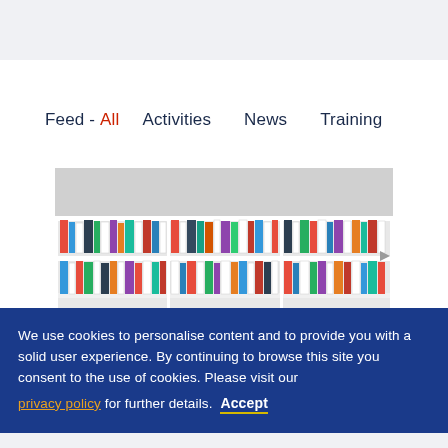Feed - All   Activities   News   Training
[Figure (photo): Library bookshelf with multiple rows of books, white shelving unit filled with various books of different colors and sizes]
We use cookies to personalise content and to provide you with a solid user experience. By continuing to browse this site you consent to the use of cookies. Please visit our privacy policy for further details. Accept